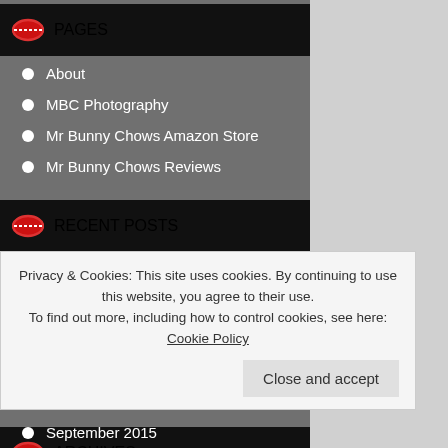PAGES
About
MBC Photography
Mr Bunny Chows Amazon Store
Mr Bunny Chows Reviews
RECENT POSTS
Oxtail Chili with a sting in the tail!
Is there anybody out there?
Stupid Chili Sauce
I'm coming out of retirement
Mango Chutney
ARCHIVES
Privacy & Cookies: This site uses cookies. By continuing to use this website, you agree to their use. To find out more, including how to control cookies, see here: Cookie Policy
Close and accept
September 2015